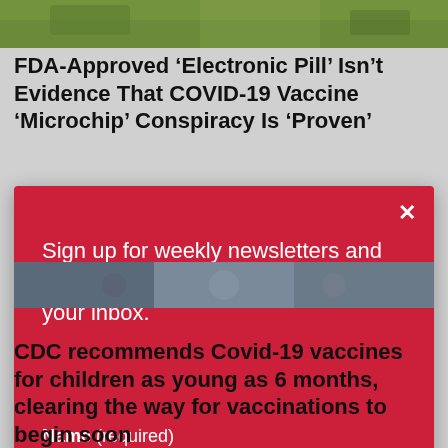[Figure (photo): Partial image strip at top of page, showing green/nature background]
FDA-Approved ‘Electronic Pill’ Isn’t Evidence That COVID-19 Vaccine ‘Microchip’ Conspiracy Is ‘Proven’
[Figure (screenshot): Red modal dialog box with newsletter sign-up form overlay]
Sign up for weekly newsletters and get the best of The Atlanta Voice in your inbox.
Name (required)
[Figure (photo): Partial image strip showing people, partially obscured by modal]
CDC recommends Covid-19 vaccines for children as young as 6 months, clearing the way for vaccinations to begin soon